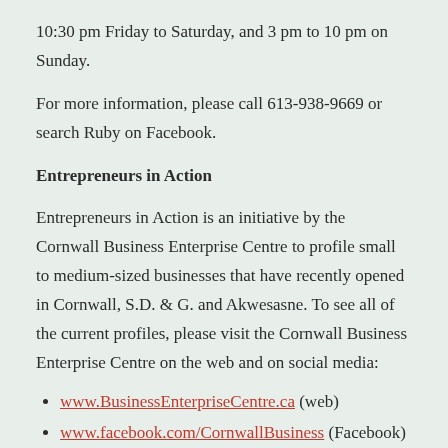10:30 pm Friday to Saturday, and 3 pm to 10 pm on Sunday.
For more information, please call 613-938-9669 or search Ruby on Facebook.
Entrepreneurs in Action
Entrepreneurs in Action is an initiative by the Cornwall Business Enterprise Centre to profile small to medium-sized businesses that have recently opened in Cornwall, S.D. & G. and Akwesasne. To see all of the current profiles, please visit the Cornwall Business Enterprise Centre on the web and on social media:
www.BusinessEnterpriseCentre.ca (web)
www.facebook.com/CornwallBusiness (Facebook)
https://twitter.com/CornwallBiz (Twitter)